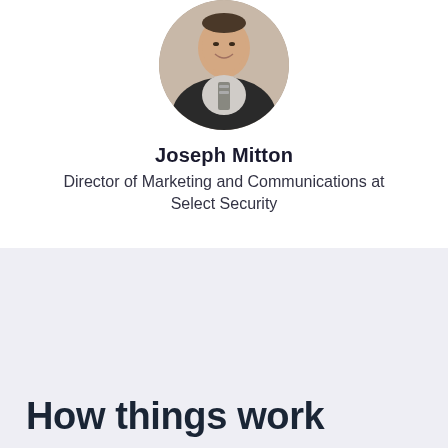[Figure (photo): Circular profile photo of Joseph Mitton, a man in a suit with a striped tie, smiling]
Joseph Mitton
Director of Marketing and Communications at Select Security
How things work